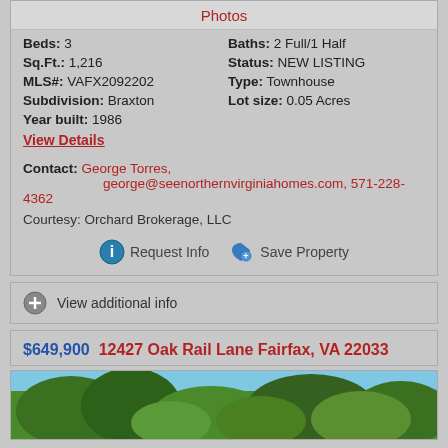Photos
Beds: 3   Baths: 2 Full/1 Half
Sq.Ft.: 1,216   Status: NEW LISTING
MLS#: VAFX2092202   Type: Townhouse
Subdivision: Braxton   Lot size: 0.05 Acres
Year built: 1986
View Details
Contact: George Torres, george@seenorthernvirginiahomes.com, 571-228-4362
Courtesy: Orchard Brokerage, LLC
Request Info   Save Property
View additional info
$649,900  12427 Oak Rail Lane Fairfax, VA 22033
[Figure (photo): Exterior photo of property with trees and blue sky]